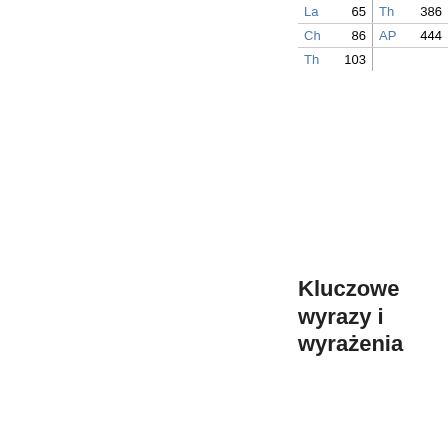| La | 65 | Th | 386 |
| Ch | 86 | AP | 444 |
| Th | 103 |  |  |
Kluczowe wyrazy i wyrażenia
according  added  allowed  altered  Amen  ancient  appears  appointed  authority  Baptism  baptized  beginning  Bishop  blessing  body  Book  Book of Common  called  Canon  Cardwell  century  ceremonies  changes  child  Christ